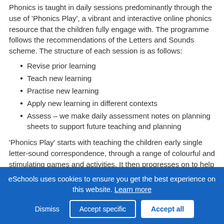Phonics is taught in daily sessions predominantly through the use of 'Phonics Play', a vibrant and interactive online phonics resource that the children fully engage with. The programme follows the recommendations of the Letters and Sounds scheme. The structure of each session is as follows:
Revise prior learning
Teach new learning
Practise new learning
Apply new learning in different contexts
Assess – we make daily assessment notes on planning sheets to support future teaching and planning
'Phonics Play' starts with teaching the children early single letter-sound correspondence, through a range of colourful and stimulating games and activities. It then progresses on to help them build a more in depth knowledge of vowel digraphs and trigraphs
eSchools uses cookies to ensure you get the best experience on this website. Learn more
Dismiss   Accept specific   Accept all